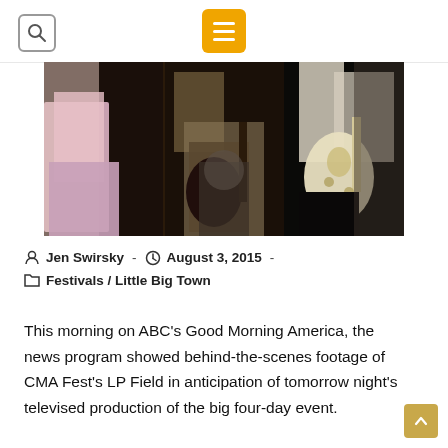Search and menu navigation bar
[Figure (photo): Musicians performing on stage: a woman in a pink dress on the left, a guitarist in the middle, a seated drummer, and a guitarist holding a cream-colored guitar on the right, all against a dark background.]
Jen Swirsky · August 3, 2015 · Festivals / Little Big Town
This morning on ABC's Good Morning America, the news program showed behind-the-scenes footage of CMA Fest's LP Field in anticipation of tomorrow night's televised production of the big four-day event.